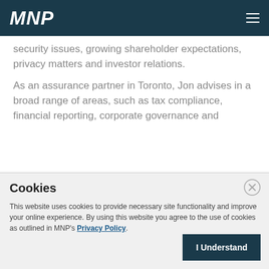MNP
security issues, growing shareholder expectations, privacy matters and investor relations.
As an assurance partner in Toronto, Jon advises in a broad range of areas, such as tax compliance, financial reporting, corporate governance and
Cookies
This website uses cookies to provide necessary site functionality and improve your online experience. By using this website you agree to the use of cookies as outlined in MNP's Privacy Policy.